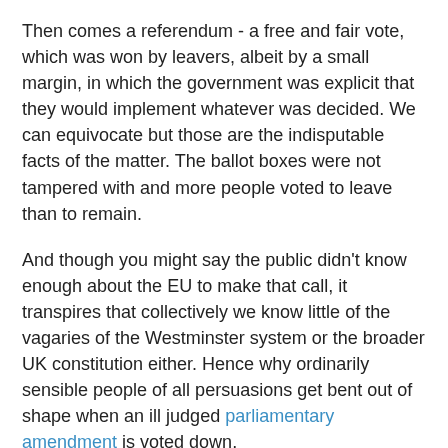Then comes a referendum - a free and fair vote, which was won by leavers, albeit by a small margin, in which the government was explicit that they would implement whatever was decided. We can equivocate but those are the indisputable facts of the matter. The ballot boxes were not tampered with and more people voted to leave than to remain.
And though you might say the public didn't know enough about the EU to make that call, it transpires that collectively we know little of the vagaries of the Westminster system or the broader UK constitution either. Hence why ordinarily sensible people of all persuasions get bent out of shape when an ill judged parliamentary amendment is voted down.
It is, therefore, from a position of ignorance, entirely understandable that ordinary people would see judicial activism as a complete betrayal of what they understand in the most basic terms, to be democracy - ie winning a vote. You might very well then see such people as enemies of the people along with the rest of the establishment which conspired to take us ever deeper into this wretched union.